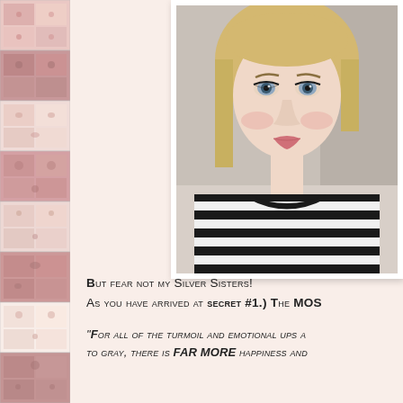[Figure (illustration): Decorative quilted patchwork strip on the left side of the page with pink, rose, and floral fabric patches]
[Figure (photo): Close-up photo of a young blonde woman with blue eyes wearing a black and white striped top, looking at the camera]
But fear not my Silver Sisters! As you have arrived at SECRET #1.) The MOS
"For all of the turmoil and emotional ups a to gray, there is FAR MORE happiness and